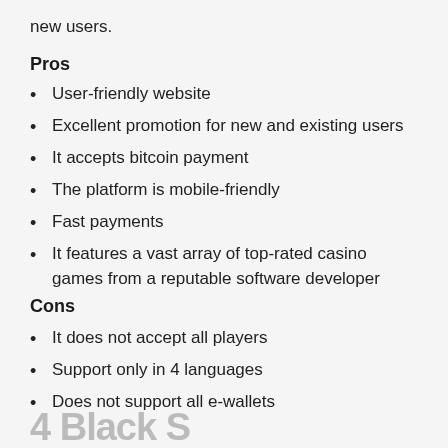new users.
Pros
User-friendly website
Excellent promotion for new and existing users
It accepts bitcoin payment
The platform is mobile-friendly
Fast payments
It features a vast array of top-rated casino games from a reputable software developer
Cons
It does not accept all players
Support only in 4 languages
Does not support all e-wallets